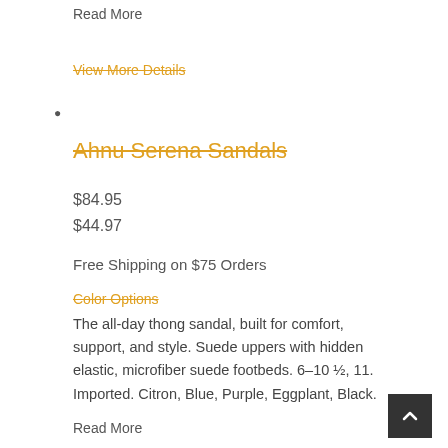Read More
View More Details
•
Ahnu Serena Sandals
$84.95
$44.97
Free Shipping on $75 Orders
Color Options
The all-day thong sandal, built for comfort, support, and style. Suede uppers with hidden elastic, microfiber suede footbeds. 6–10 ½, 11. Imported. Citron, Blue, Purple, Eggplant, Black.
Read More